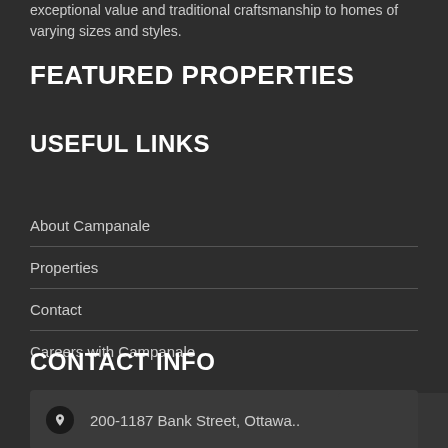exceptional value and traditional craftsmanship to homes of varying sizes and styles.
FEATURED PROPERTIES
USEFUL LINKS
About Campanale
Properties
Contact
Careers with Campanale
CONTACT INFO
200-1187 Bank Street, Ottawa..
(613) 902-1784